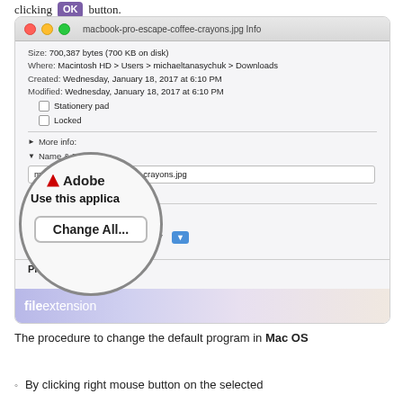clicking OK button.
[Figure (screenshot): Mac OS X Get Info window for macbook-pro-escape-coffee-crayons.jpg showing file details, Name & Extension section with macbook-pro-escape-coffee-crayons.jpg in text field, Open With section showing Adobe Acrobat CC 2017 dropdown and Change All button, magnifier circle highlighting 'Adobe...', 'Use this applica...' and 'Change All...' button, Preview section at bottom with fileextension logo]
The procedure to change the default program in Mac OS
By clicking right mouse button on the selected